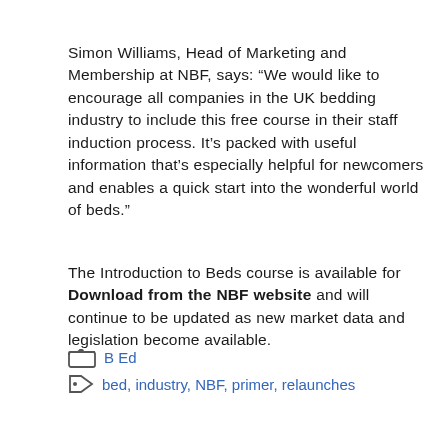Simon Williams, Head of Marketing and Membership at NBF, says: “We would like to encourage all companies in the UK bedding industry to include this free course in their staff induction process. It’s packed with useful information that’s especially helpful for newcomers and enables a quick start into the wonderful world of beds.”
The Introduction to Beds course is available for Download from the NBF website and will continue to be updated as new market data and legislation become available.
B Ed
bed, industry, NBF, primer, relaunches